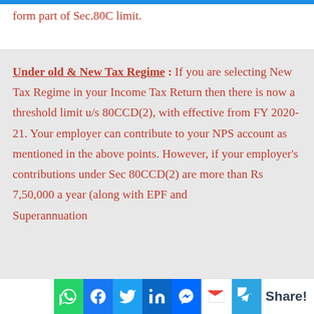form part of Sec.80C limit.
Under old & New Tax Regime : If you are selecting New Tax Regime in your Income Tax Return then there is now a threshold limit u/s 80CCD(2), with effective from FY 2020-21. Your employer can contribute to your NPS account as mentioned in the above points. However, if your employer's contributions under Sec 80CCD(2) are more than Rs 7,50,000 a year (along with EPF and Superannuation
Share!